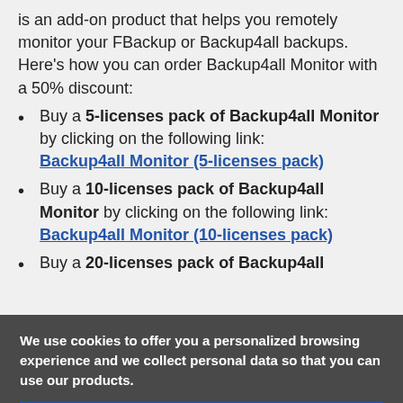is an add-on product that helps you remotely monitor your FBackup or Backup4all backups. Here's how you can order Backup4all Monitor with a 50% discount:
Buy a 5-licenses pack of Backup4all Monitor by clicking on the following link: Backup4all Monitor (5-licenses pack)
Buy a 10-licenses pack of Backup4all Monitor by clicking on the following link: Backup4all Monitor (10-licenses pack)
Buy a 20-licenses pack of Backup4all Monitor
We use cookies to offer you a personalized browsing experience and we collect personal data so that you can use our products.
I AGREE
READ MORE